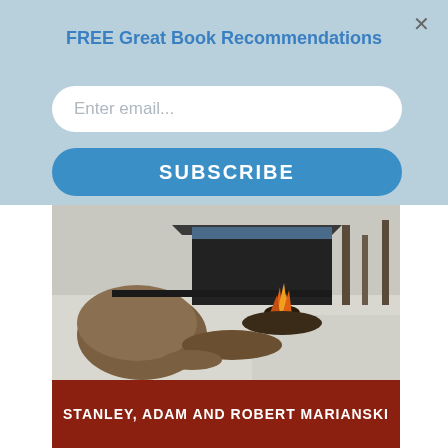FREE Great Book Recommendations
Enter email...
SUBSCRIBE
[Figure (photo): Outdoor winter scene showing a campfire or small fire burning near a dark shelter structure in a snowy landscape with mud and snow on the ground and trees in the background.]
STANLEY, ADAM AND ROBERT MARIANSKI